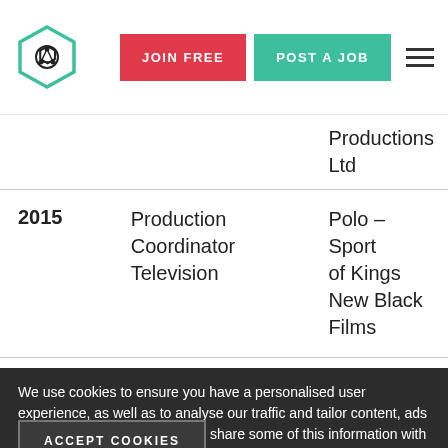JOIN FREE | POST A JOB
| Year | Role | Production |
| --- | --- | --- |
|  | Productions Ltd |  |
| 2015 | Production Coordinator Television | Polo – Sport of Kings New Black Films |
| 2015 | Coordination [obscured] | [obscured] New Black [obscured] |
| 2015 | Script [obscured] Film | Lonely Hearts Late Bloomers |
We use cookies to ensure you have a personalised user experience, as well as to analyse our traffic and tailor content, ads and social media features. We share some of this information with our technology, analytics and marketing partners. Privacy Policy
ACCEPT COOKIES